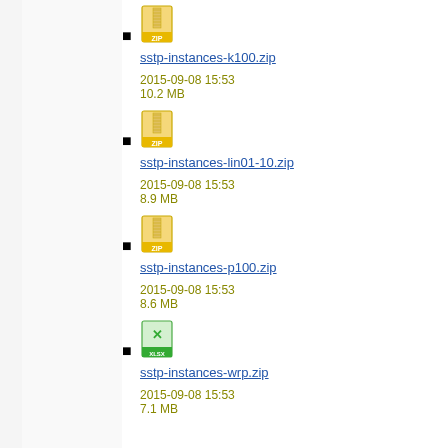sstp-instances-k100.zip
2015-09-08 15:53
10.2 MB
sstp-instances-lin01-10.zip
2015-09-08 15:53
8.9 MB
sstp-instances-p100.zip
2015-09-08 15:53
8.6 MB
sstp-instances-wrp.zip
2015-09-08 15:53
7.1 MB